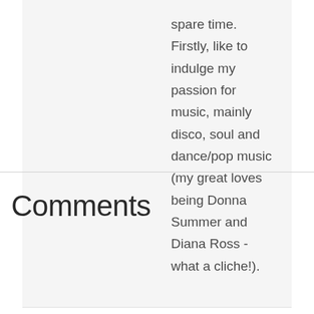spare time. Firstly, like to indulge my passion for music, mainly disco, soul and dance/pop music (my great loves being Donna Summer and Diana Ross - what a cliche!).
Comments